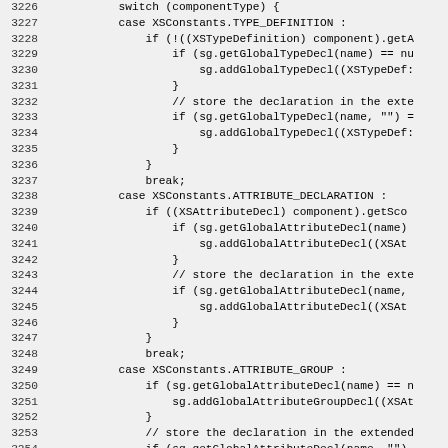Source code listing, lines 3226-3255, showing switch statement on componentType with cases for XSConstants.TYPE_DEFINITION, XSConstants.ATTRIBUTE_DECLARATION, and XSConstants.ATTRIBUTE_GROUP